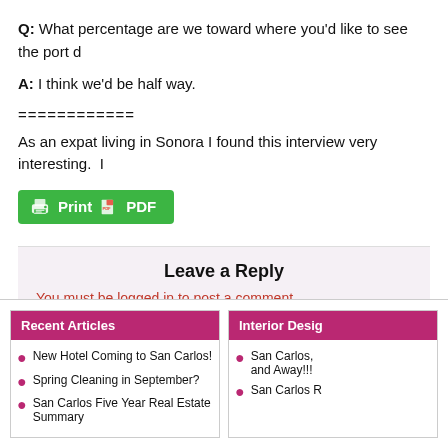Q: What percentage are we toward where you'd like to see the port d
A: I think we'd be half way.
============
As an expat living in Sonora I found this interview very interesting.  I
[Figure (other): Green Print PDF button with printer and PDF icons]
Leave a Reply
You must be logged in to post a comment.
Recent Articles
New Hotel Coming to San Carlos!
Spring Cleaning in September?
San Carlos Five Year Real Estate Summary
Interior Desig
San Carlos, and Away!!!
San Carlos R